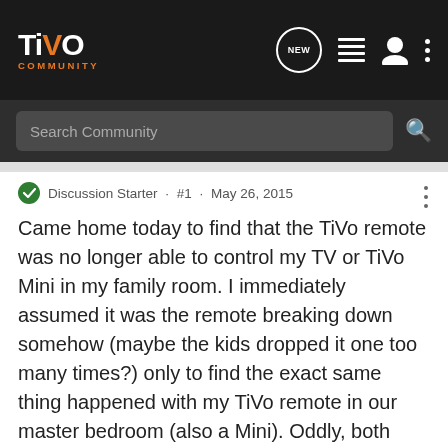TiVo Community
Search Community
Discussion Starter · #1 · May 26, 2015
Came home today to find that the TiVo remote was no longer able to control my TV or TiVo Mini in my family room. I immediately assumed it was the remote breaking down somehow (maybe the kids dropped it one too many times?) only to find the exact same thing happened with my TiVo remote in our master bedroom (also a Mini). Oddly, both remotes no longer control the TV power or volume, and of course not the Mini. I have to use the TiVo app on my iOS devices to control either Mini.
The main TiVo remote that goes with my Roamio in my home theater still works, so I am surmising that this is some kind of software glitch. There is no way both remotes could have failed